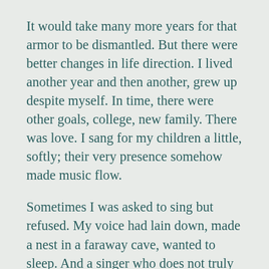It would take many more years for that armor to be dismantled. But there were better changes in life direction. I lived another year and then another, grew up despite myself. In time, there were other goals, college, new family. There was love. I sang for my children a little, softly; their very presence somehow made music flow.
Sometimes I was asked to sing but refused. My voice had lain down, made a nest in a faraway cave, wanted to sleep. And a singer who does not truly sing, cannot hope to sing true.
I hadn’t lost my belief in Divine Spirit, but gradually there unfolded a profound renewal of my Christian faith which had